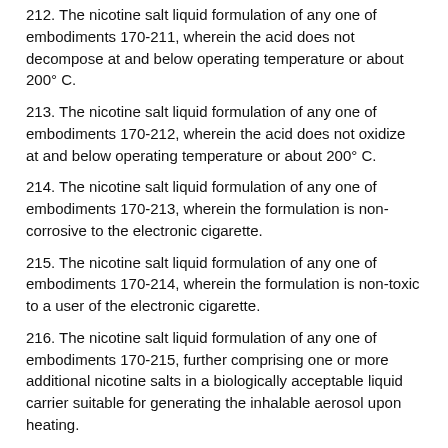212. The nicotine salt liquid formulation of any one of embodiments 170-211, wherein the acid does not decompose at and below operating temperature or about 200° C.
213. The nicotine salt liquid formulation of any one of embodiments 170-212, wherein the acid does not oxidize at and below operating temperature or about 200° C.
214. The nicotine salt liquid formulation of any one of embodiments 170-213, wherein the formulation is non-corrosive to the electronic cigarette.
215. The nicotine salt liquid formulation of any one of embodiments 170-214, wherein the formulation is non-toxic to a user of the electronic cigarette.
216. The nicotine salt liquid formulation of any one of embodiments 170-215, further comprising one or more additional nicotine salts in a biologically acceptable liquid carrier suitable for generating the inhalable aerosol upon heating.
217. The nicotine salt liquid formulation of embodiment 216, wherein a second acid used to form the additional